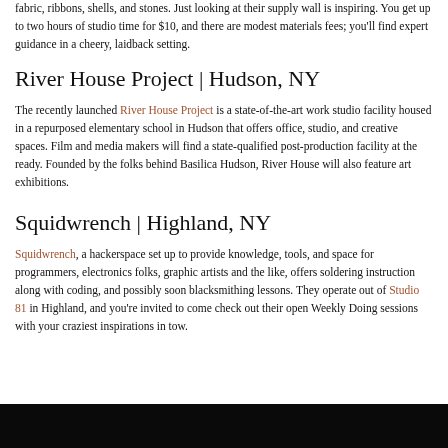fabric, ribbons, shells, and stones. Just looking at their supply wall is inspiring. You get up to two hours of studio time for $10, and there are modest materials fees; you'll find expert guidance in a cheery, laidback setting.
River House Project | Hudson, NY
The recently launched River House Project is a state-of-the-art work studio facility housed in a repurposed elementary school in Hudson that offers office, studio, and creative spaces. Film and media makers will find a state-qualified post-production facility at the ready. Founded by the folks behind Basilica Hudson, River House will also feature art exhibitions.
Squidwrench | Highland, NY
Squidwrench, a hackerspace set up to provide knowledge, tools, and space for programmers, electronics folks, graphic artists and the like, offers soldering instruction along with coding, and possibly soon blacksmithing lessons. They operate out of Studio 81 in Highland, and you're invited to come check out their open Weekly Doing sessions with your craziest inspirations in tow.
[Figure (photo): Dark image at the bottom of the page, appears to be a dark-toned photograph.]